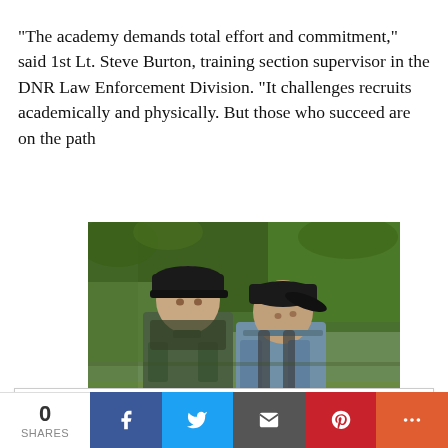“The academy demands total effort and commitment,” said 1st Lt. Steve Burton, training section supervisor in the DNR Law Enforcement Division. “It challenges recruits academically and physically. But those who succeed are on the path
[Figure (photo): Two men outdoors near water and green vegetation. One wearing a green uniform shirt (conservation officer), the other in a grey-blue shirt and black cap, both wearing black baseball caps.]
Privacy & Cookies: This site uses cookies. By continuing to use this website, you agree to their use.
To find out more, including how to control cookies, see here: Cookie Policy
to an exciting, fulfilling career as a Michigan conservation